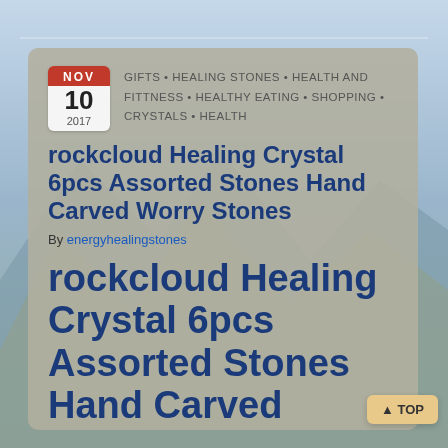[Figure (photo): Mountain landscape background with blue sky and grey-green mountain silhouettes]
GIFTS • HEALING STONES • HEALTH AND FITTNESS • HEALTHY EATING • SHOPPING • CRYSTALS • HEALTH
rockcloud Healing Crystal 6pcs Assorted Stones Hand Carved Worry Stones
By energyhealingstones
rockcloud Healing Crystal 6pcs Assorted Stones Hand Carved Worry Stones Palm Pocket Stone Reiki